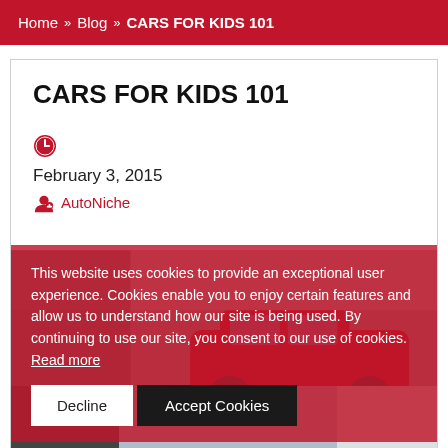Home >> Blog >> CARS FOR KIDS 101
CARS FOR KIDS 101
February 3, 2015
AutoNiche
This website uses cookies to provide an exceptional user experience. Cookies enable you to enjoy certain features and allow us to understand how our site is being used. By continuing to use our site, you consent to our use of cookies. Read more
[Figure (screenshot): Cookie consent overlay with Decline and Accept Cookies buttons on a red semi-transparent background over a car image]
[Figure (photo): Bottom image strip showing cars and automotive imagery]